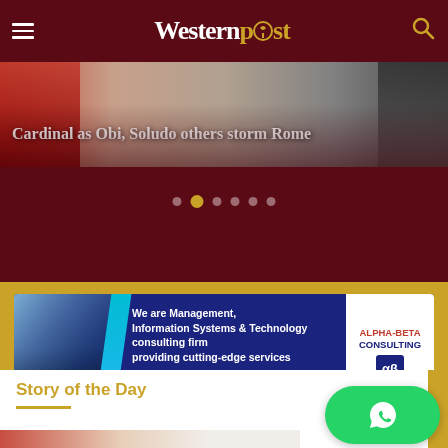Western Post
Cardinal as Obi, Soludo others storm Rome
[Figure (screenshot): Slider dots navigation showing 6 dots with second dot highlighted in gold]
[Figure (infographic): Alpha-Beta Consulting advertisement banner: We are Management, Information Systems & Technology consulting firm providing cutting-edge services. Services: Project Management, Fixed Assets Management, Software Development, Systems Reviews & Audit, Payment Solution, Database Maintenance, Systems Training & Support. Visit www.alphabetallp.com]
Story of the Day